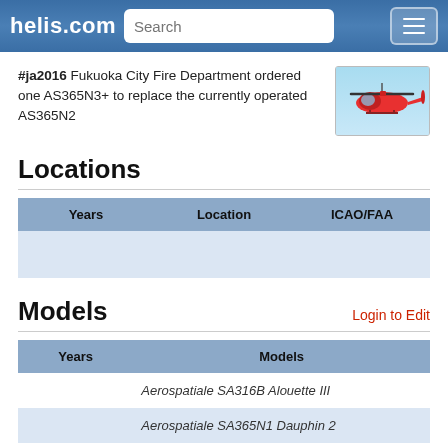helis.com
#ja2016 Fukuoka City Fire Department ordered one AS365N3+ to replace the currently operated AS365N2
[Figure (photo): Red helicopter on light blue background]
Locations
| Years | Location | ICAO/FAA |
| --- | --- | --- |
|  |  |  |
Models
| Years | Models |
| --- | --- |
|  | Aerospatiale SA316B Alouette III |
|  | Aerospatiale SA365N1 Dauphin 2 |